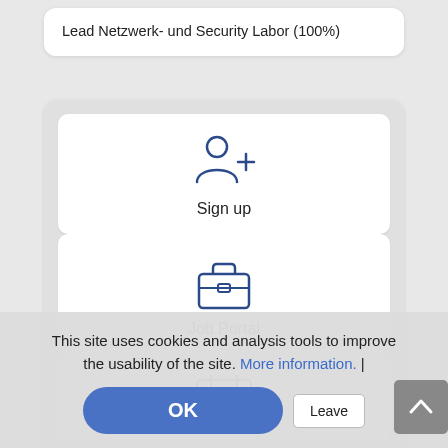Lead Netzwerk- und Security Labor (100%)
[Figure (screenshot): Sign up button card with person-plus icon and label 'Sign up']
[Figure (screenshot): Job Portal button card with briefcase icon and label 'Job Portal']
[Figure (screenshot): Partially visible calendar icon card at bottom]
This site uses cookies and analysis tools to improve the usability of the site. More information. |
OK
Leave